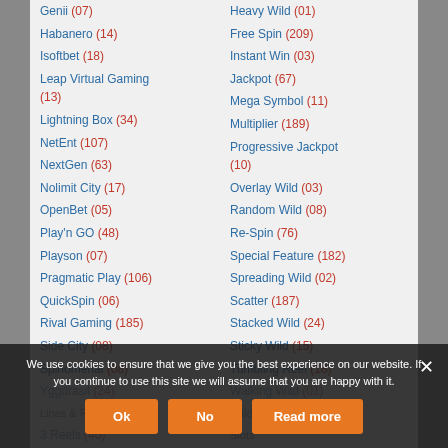Genii (07)
Habanero (14)
Isoftbet (18)
Leap Virtual Gaming (13)
Lightning Box (34)
NetEnt (107)
NextGen (63)
Nolimit City (17)
OpenBet (05)
Play'n GO (48)
Playson (07)
Pragmatic Play (106)
QuickSpin (06)
Rival Gaming (185)
Side City (08)
Spinomenal (08)
Yggdrasil (24)
Lines & Reels :
3 Reels (40)
4 Reels (02)
5 Reels
6 Reels
7 Reels (01)
Heavy Wild (01)
Free Spin (209)
Instant Win (03)
Jackpot (67)
Mega Symbol (11)
Multiplier (189)
Progressive Jackpot (10)
Overlay Wild (03)
Random Wild (08)
Re-Spin (76)
Special Feature (182)
Spreading Wild (02)
Scatter (187)
Stacked Wild (24)
Sticky Wild (15)
Tumbling Reel (18)
Walking Wild (01)
Wild (289)
Slots
3D (219)
EasiSpin (277)
We use cookies to ensure that we give you the best experience on our website. If you continue to use this site we will assume that you are happy with it.